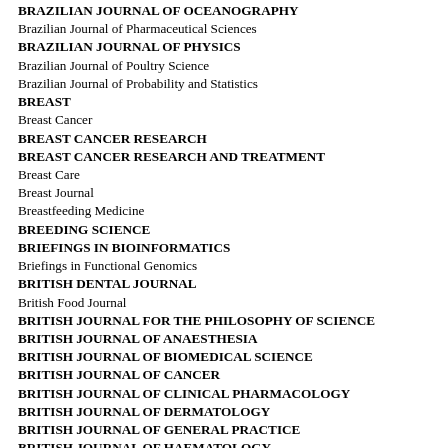BRAZILIAN JOURNAL OF OCEANOGRAPHY
Brazilian Journal of Pharmaceutical Sciences
BRAZILIAN JOURNAL OF PHYSICS
Brazilian Journal of Poultry Science
Brazilian Journal of Probability and Statistics
BREAST
Breast Cancer
BREAST CANCER RESEARCH
BREAST CANCER RESEARCH AND TREATMENT
Breast Care
Breast Journal
Breastfeeding Medicine
BREEDING SCIENCE
BRIEFINGS IN BIOINFORMATICS
Briefings in Functional Genomics
BRITISH DENTAL JOURNAL
British Food Journal
BRITISH JOURNAL FOR THE PHILOSOPHY OF SCIENCE
BRITISH JOURNAL OF ANAESTHESIA
BRITISH JOURNAL OF BIOMEDICAL SCIENCE
BRITISH JOURNAL OF CANCER
BRITISH JOURNAL OF CLINICAL PHARMACOLOGY
BRITISH JOURNAL OF DERMATOLOGY
BRITISH JOURNAL OF GENERAL PRACTICE
BRITISH JOURNAL OF HAEMATOLOGY